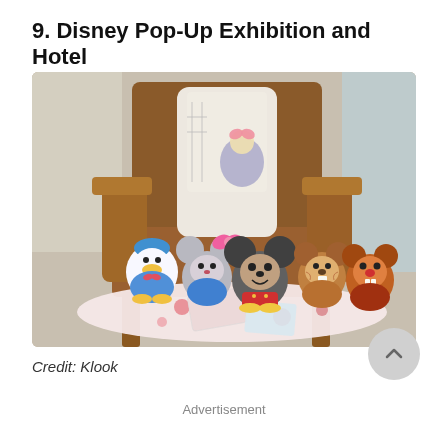9. Disney Pop-Up Exhibition and Hotel
[Figure (photo): Photo of Disney plush toys (Donald Duck, Minnie Mouse, Mickey Mouse, Chip and Dale in tsum tsum style) sitting on a brown leather chair with a Disney-themed pillow and a floral patterned table with cards/pamphlets. Hotel room visible in background.]
Credit: Klook
Advertisement